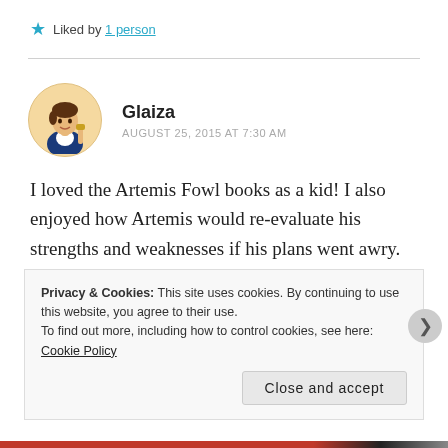★ Liked by 1 person
Glaiza
AUGUST 25, 2015 AT 7:30 AM
I loved the Artemis Fowl books as a kid! I also enjoyed how Artemis would re-evaluate his strengths and weaknesses if his plans went awry.
Privacy & Cookies: This site uses cookies. By continuing to use this website, you agree to their use. To find out more, including how to control cookies, see here: Cookie Policy
Close and accept